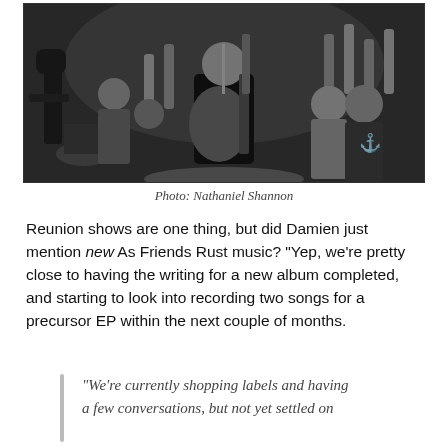[Figure (photo): Black and white concert photo of a guitarist performing on stage surrounded by crowd with hands raised]
Photo: Nathaniel Shannon
Reunion shows are one thing, but did Damien just mention new As Friends Rust music? "Yep, we're pretty close to having the writing for a new album completed, and starting to look into recording two songs for a precursor EP within the next couple of months.
"We're currently shopping labels and having a few conversations, but not yet settled on